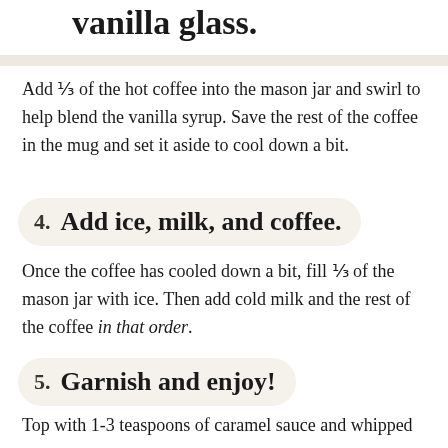vanilla glass.
Add ⅓ of the hot coffee into the mason jar and swirl to help blend the vanilla syrup. Save the rest of the coffee in the mug and set it aside to cool down a bit.
4. Add ice, milk, and coffee.
Once the coffee has cooled down a bit, fill ⅓ of the mason jar with ice. Then add cold milk and the rest of the coffee in that order.
5. Garnish and enjoy!
Top with 1-3 teaspoons of caramel sauce and whipped